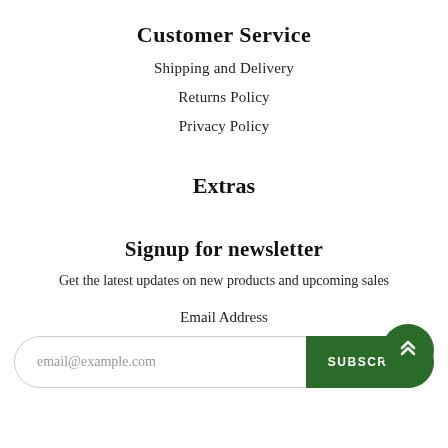Customer Service
Shipping and Delivery
Returns Policy
Privacy Policy
Extras
Signup for newsletter
Get the latest updates on new products and upcoming sales
Email Address
email@example.com